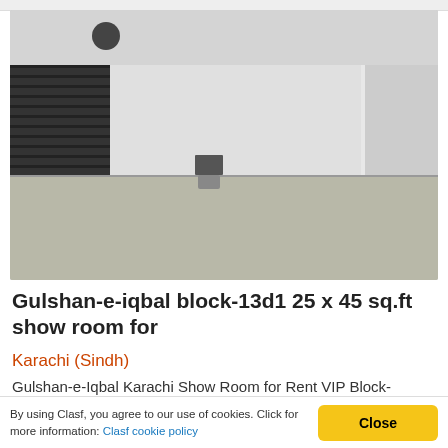[Figure (photo): Interior of an empty commercial showroom/shop space with dark roller shutters on the left, plain white walls, a small wall-mounted fixture in the center, and a tiled floor.]
Gulshan-e-iqbal block-13d1 25 x 45 sq.ft show room for
Karachi (Sindh)
Gulshan-e-Iqbal Karachi Show Room for Rent VIP Block-
By using Clasf, you agree to our use of cookies. Click for more information: Clasf cookie policy
Close